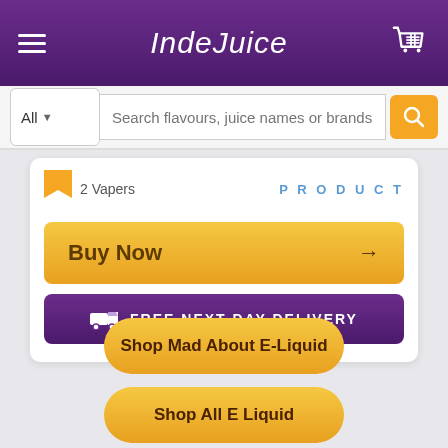[Figure (screenshot): IndeJuice e-commerce website header with purple gradient background, hamburger menu icon on left, IndeJuice script logo in center, shopping basket icon on right]
[Figure (screenshot): Search bar with All dropdown, search input placeholder text 'Search flavours, juice names or brands...', and yellow search button with magnifying glass icon]
2 Vapers
PRODUCT
Buy Now →
FREE NEXT DAY DELIVERY
Shop Mad About E-Liquid
Shop All E Liquid